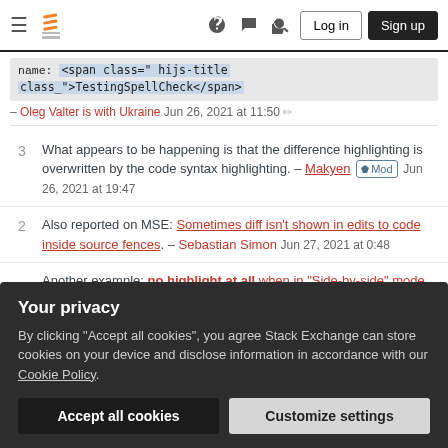Stack Exchange header with hamburger menu, logo, help, chat, search icons, Log in and Sign up buttons
name: <span class="hijs-title class_">TestingSpellCheck</span>
– Oleg Valter is with Ukraine Jun 26, 2021 at 11:50
3 What appears to be happening is that the difference highlighting is overwritten by the code syntax highlighting. – Makyen ♦ Mod Jun 26, 2021 at 19:47
2 Also reported on MSE: Sometimes diff isn't shown in edits to code inside source fences. – Sebastian Simon Jun 27, 2021 at 0:48
Another example: no highlight at all when in "Side-by-side" mode (my favorite mode) – ZygD Jun 28, 2021 at 10:29
Your privacy
By clicking "Accept all cookies", you agree Stack Exchange can store cookies on your device and disclose information in accordance with our Cookie Policy.
Accept all cookies   Customize settings